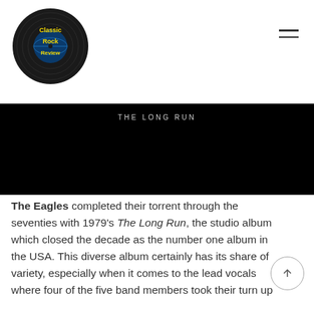Classic Rock Review
[Figure (photo): Album cover for The Eagles - The Long Run. Almost entirely black with the text 'THE LONG RUN' in spaced gray letters near the top.]
The Eagles completed their torrent through the seventies with 1979's The Long Run, the studio album which closed the decade as the number one album in the USA. This diverse album certainly has its share of variety, especially when it comes to the lead vocals where four of the five band members took their turn up